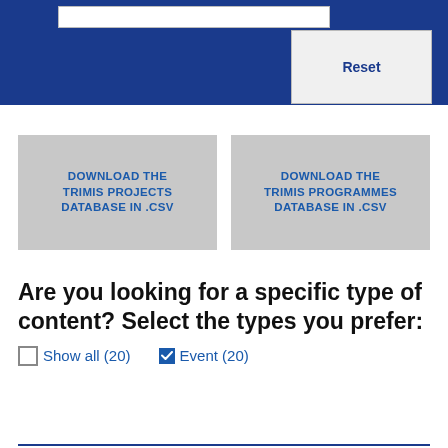[Figure (screenshot): Blue navigation bar with a search input and a Reset button]
DOWNLOAD THE TRIMIS PROJECTS DATABASE IN .CSV
DOWNLOAD THE TRIMIS PROGRAMMES DATABASE IN .CSV
Are you looking for a specific type of content? Select the types you prefer:
Show all (20)
Event (20)